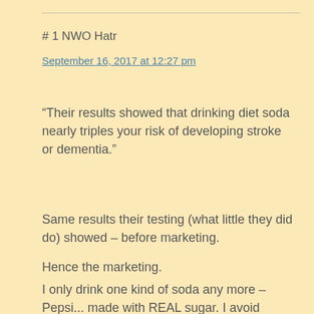# 1 NWO Hatr
September 16, 2017 at 12:27 pm
“Their results showed that drinking diet soda nearly triples your risk of developing stroke or dementia.”
Same results their testing (what little they did do) showed – before marketing.
Hence the marketing.
I only drink one kind of soda any more – Pepsi... made with REAL sugar. I avoid HFCS and any other artificial sweeteners as much